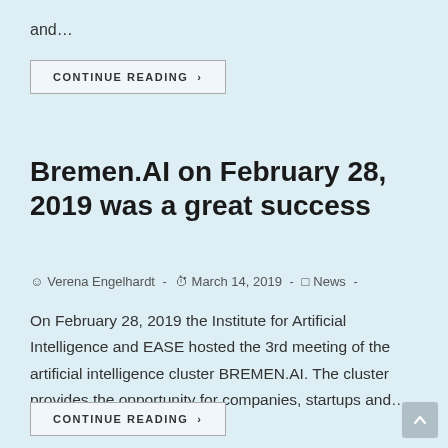and…
CONTINUE READING >
Bremen.AI on February 28, 2019 was a great success
Verena Engelhardt · March 14, 2019 · News ·
On February 28, 2019 the Institute for Artificial Intelligence and EASE hosted the 3rd meeting of the artificial intelligence cluster BREMEN.AI. The cluster provides the opportunity for companies, startups and…
CONTINUE READING >